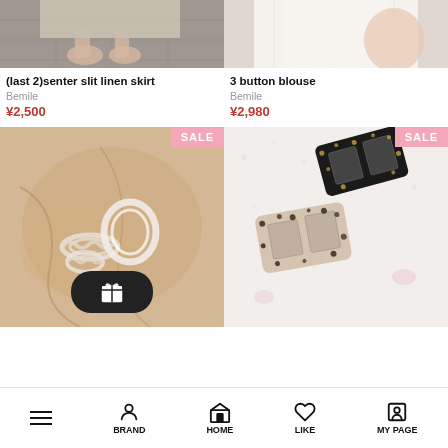[Figure (photo): Top portion of product photo showing (last 2)senter slit linen skirt]
[Figure (photo): Top portion of product photo showing 3 button blouse]
(last 2)senter slit linen skirt
Bemile
¥2,500
3 button blouse
Bemile
¥2,980
[Figure (photo): Clear/pearl hair rings accessory with SALE badge and gift button overlay]
[Figure (photo): Black and beige leopard print hair claw clips with SALE badge]
BRAND  HOME  LIKE  MY PAGE